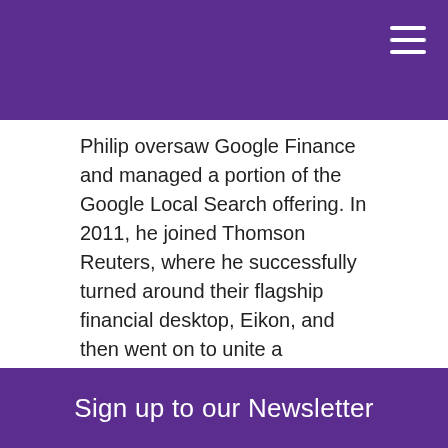Philip oversaw Google Finance and managed a portion of the Google Local Search offering. In 2011, he joined Thomson Reuters, where he successfully turned around their flagship financial desktop, Eikon, and then went on to unite a fragmented software development and operations effort. He was named the CTO and Global Head of Platform of the Financial and Risk Division, where he managed a globally-distributed team of over 6,000 product and technology professionals.
FINCAD's other new board member, Geoff Fite, has been in financial technology for more than 20 years, and is Principal of Fite Analytics, an independent consulting firm specializing in financial technology
Sign up to our Newsletter